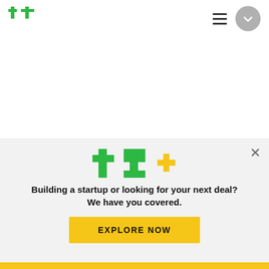TechCrunch
| Disrupt | 21 |
| Buy Now |  |
[Figure (logo): TechCrunch Plus (TC+) logo in green and yellow]
Building a startup or looking for your next deal? We have you covered.
EXPLORE NOW